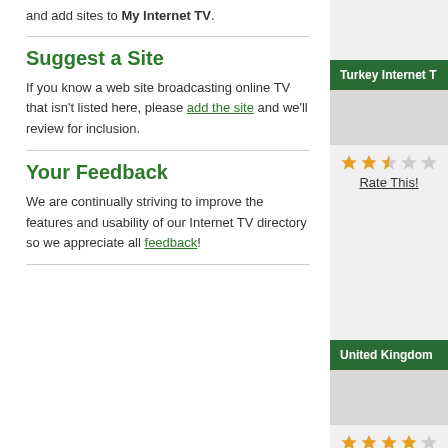and add sites to My Internet TV.
Suggest a Site
If you know a web site broadcasting online TV that isn't listed here, please add the site and we'll review for inclusion.
Your Feedback
We are continually striving to improve the features and usability of our Internet TV directory so we appreciate all feedback!
Turkey Internet T
Rate This!
United Kingdom
Rate This!